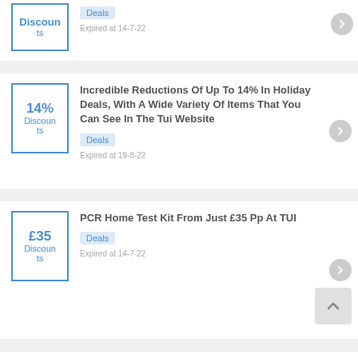[Figure (other): Partial deal card at top showing discount box and Deals tag with Expired at 14-7-22]
Incredible Reductions Of Up To 14% In Holiday Deals, With A Wide Variety Of Items That You Can See In The Tui Website
Deals
Expired at 19-8-22
PCR Home Test Kit From Just £35 Pp At TUI
Deals
Expired at 14-7-22
Take 5% Reduction Selected Cruises
Deals